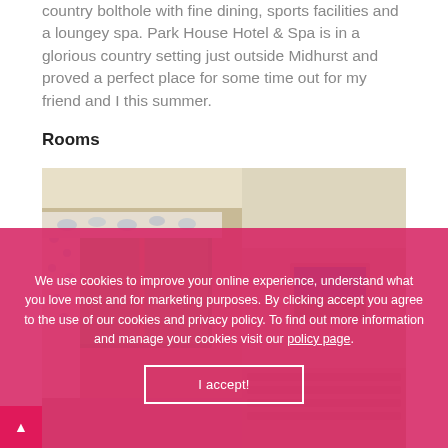country bolthole with fine dining, sports facilities and a loungey spa. Park House Hotel & Spa is in a glorious country setting just outside Midhurst and proved a perfect place for some time out for my friend and I this summer.
Rooms
[Figure (photo): Interior of a hotel room with floral curtains, a window overlooking greenery, angled ceiling, a framed artwork on the wall, and a bed headboard visible on the right.]
We use cookies to improve your online experience, understand what you love most and for marketing purposes. By clicking accept you agree to the use of our cookies and privacy policy. To find out more information and manage your cookies visit our policy page.
I accept!